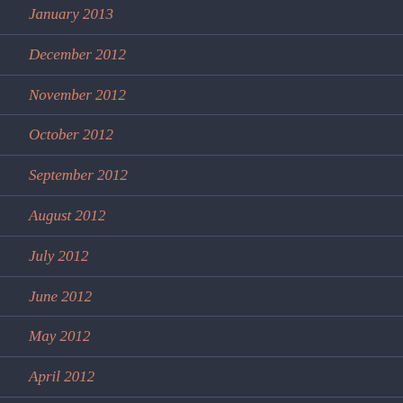January 2013
December 2012
November 2012
October 2012
September 2012
August 2012
July 2012
June 2012
May 2012
April 2012
March 2012
February 2012